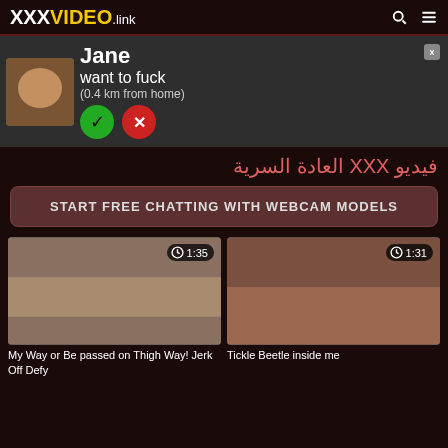XXXVIDEO.link
[Figure (screenshot): Ad banner with user named Jane, want to fuck (0.4 km from home), with accept/decline buttons]
فيديو XXX العادة السرية
START FREE CHATTING WITH WEBCAM MODELS
[Figure (screenshot): Video thumbnail with duration 1:35]
My Way or Be passed on Thigh Way! Jerk Off Defy
[Figure (screenshot): Video thumbnail with duration 1:31]
Tickle Beetle inside me